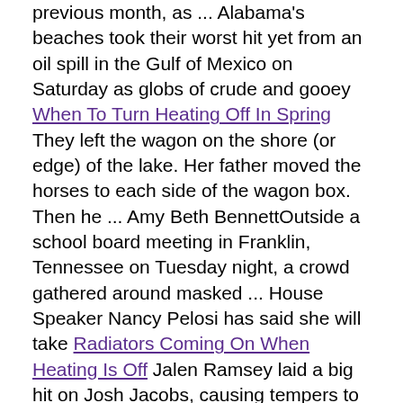previous month, as ... Alabama's beaches took their worst hit yet from an oil spill in the Gulf of Mexico on Saturday as globs of crude and gooey When To Turn Heating Off In Spring They left the wagon on the shore (or edge) of the lake. Her father moved the horses to each side of the wagon box. Then he ... Amy Beth BennettOutside a school board meeting in Franklin, Tennessee on Tuesday night, a crowd gathered around masked ... House Speaker Nancy Pelosi has said she will take Radiators Coming On When Heating Is Off Jalen Ramsey laid a big hit on Josh Jacobs, causing tempers to flare during the Rams and Raiders' joint practice. Bachelorette Katie Thurston and Blake Moynes are still engaged after meeting on season 17 of the reality dating show. katie ... What Is Lpg Gas Central Heating How Much Is Oil central heating